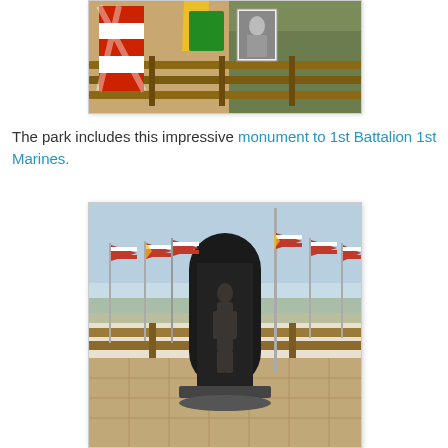[Figure (photo): Photo of colorful flags and a black-and-white photograph attached to a wooden railing fence, with vegetation in the background. A red and white chevron-patterned flag is prominent on the left.]
The park includes this impressive monument to 1st Battalion 1st Marines.
[Figure (photo): Photo of a dark bronze/stone monument depicting a soldier figure, shaped as a tall arch, surrounded by American flags on poles. The monument is set on a paved plaza with a wooden railing fence in the background and a light blue sky.]